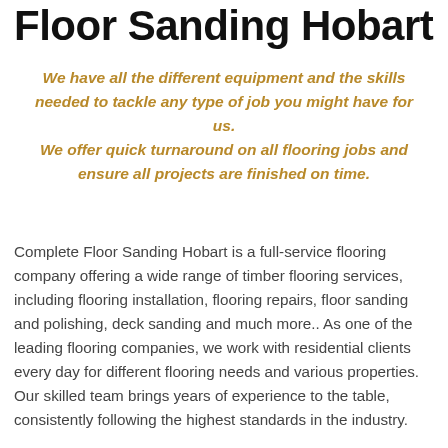Floor Sanding Hobart
We have all the different equipment and the skills needed to tackle any type of job you might have for us. We offer quick turnaround on all flooring jobs and ensure all projects are finished on time.
Complete Floor Sanding Hobart is a full-service flooring company offering a wide range of timber flooring services, including flooring installation, flooring repairs, floor sanding and polishing, deck sanding and much more.. As one of the leading flooring companies, we work with residential clients every day for different flooring needs and various properties. Our skilled team brings years of experience to the table, consistently following the highest standards in the industry.